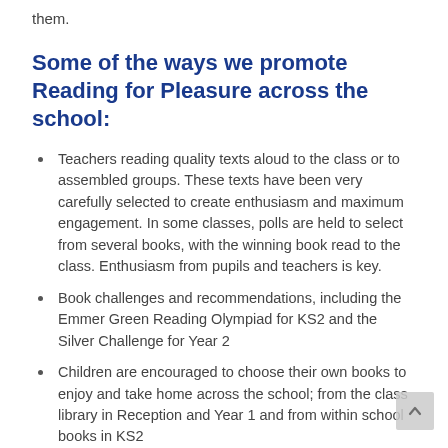have plenty of opportunity to read, listen to and discuss them.
Some of the ways we promote Reading for Pleasure across the school:
Teachers reading quality texts aloud to the class or to assembled groups. These texts have been very carefully selected to create enthusiasm and maximum engagement. In some classes, polls are held to select from several books, with the winning book read to the class. Enthusiasm from pupils and teachers is key.
Book challenges and recommendations, including the Emmer Green Reading Olympiad for KS2 and the Silver Challenge for Year 2
Children are encouraged to choose their own books to enjoy and take home across the school; from the class library in Reception and Year 1 and from within school books in KS2